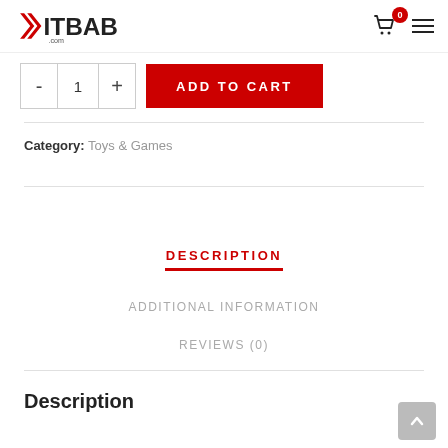BITBAB.COM
- 1 + ADD TO CART
Category: Toys & Games
DESCRIPTION
ADDITIONAL INFORMATION
REVIEWS (0)
Description